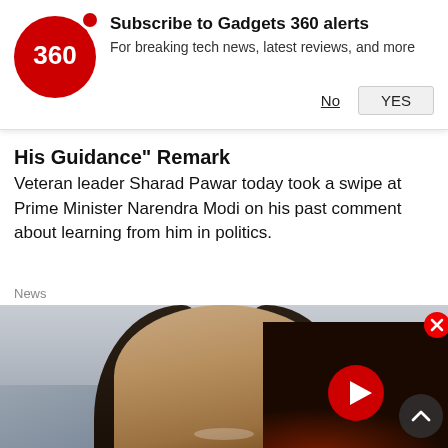[Figure (screenshot): Gadgets 360 subscription notification banner with red circular logo showing '360', bold title 'Subscribe to Gadgets 360 alerts', subtitle 'For breaking tech news, latest reviews, and more', and two buttons: 'No' (underlined) and 'YES' (in a grey button)]
His Guidance" Remark
Veteran leader Sharad Pawar today took a swipe at Prime Minister Narendra Modi on his past comment about learning from him in politics.
News
[Figure (photo): A smiling woman with long dark wavy hair, with a video player overlay in the top-right showing a red play button on dark background, a red close (X) button, and a dark scroll-up arrow button at bottom right]